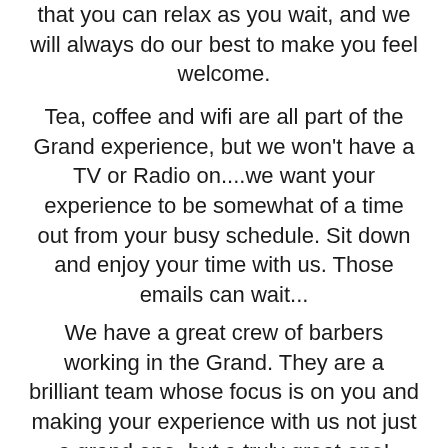that you can relax as you wait, and we will always do our best to make you feel welcome.
Tea, coffee and wifi are all part of the Grand experience, but we won't have a TV or Radio on....we want your experience to be somewhat of a time out from your busy schedule. Sit down and enjoy your time with us. Those emails can wait...
We have a great crew of barbers working in the Grand. They are a brilliant team whose focus is on you and making your experience with us not just a grand one, but a truly great one!